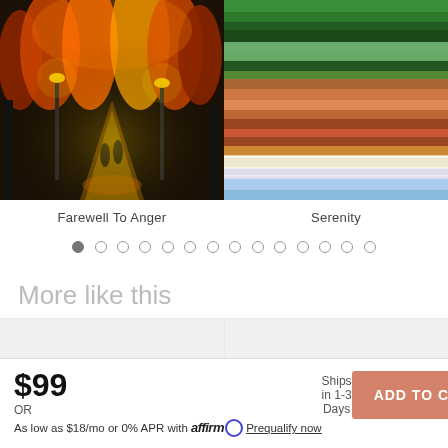[Figure (photo): Colorful impressionist painting of a rainy night street with trees and street lamps — Farewell To Anger]
[Figure (photo): Abstract horizontal stripe painting with ocean/landscape layers in warm and cool colors — Serenity]
Farewell To Anger
Serenity
More like this
[Figure (photo): Placeholder image — artwork thumbnail left]
[Figure (photo): Placeholder image — artwork thumbnail right]
$99
OR
As low as $18/mo or 0% APR with affirm Prequalify now
Ships in 1-3 Days
ADD TO CART